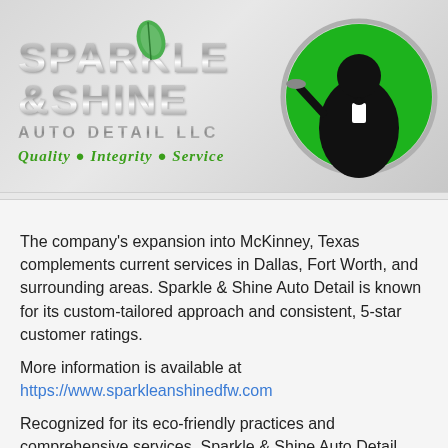[Figure (logo): Sparkle & Shine Auto Detail LLC logo banner with silver metallic text, green leaf icon, butler silhouette in tuxedo on green globe, and tagline 'Quality • Integrity • Service']
The company's expansion into McKinney, Texas complements current services in Dallas, Fort Worth, and surrounding areas. Sparkle & Shine Auto Detail is known for its custom-tailored approach and consistent, 5-star customer ratings.
More information is available at https://www.sparkleanshinedfw.com
Recognized for its eco-friendly practices and comprehensive services, Sparkle & Shine Auto Detail prioritizes convenience in